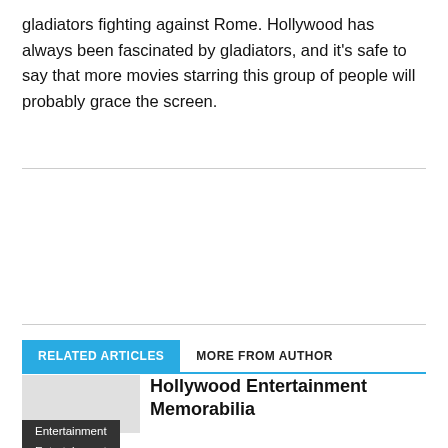gladiators fighting against Rome. Hollywood has always been fascinated by gladiators, and it's safe to say that more movies starring this group of people will probably grace the screen.
RELATED ARTICLES | MORE FROM AUTHOR
Hollywood Entertainment Memorabilia
Entertainment
Entertainment